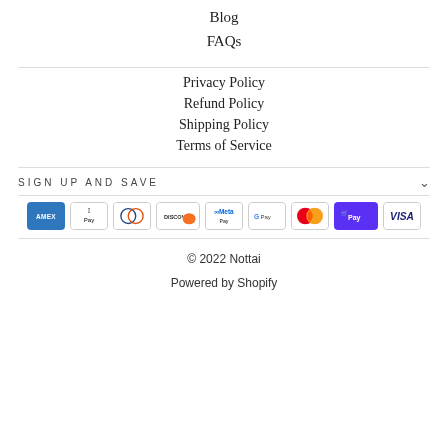Blog
FAQs
Privacy Policy
Refund Policy
Shipping Policy
Terms of Service
SIGN UP AND SAVE
[Figure (other): Payment method icons: American Express, Apple Pay, Diners Club, Discover, Meta Pay, Google Pay, Mastercard, Shop Pay, Visa]
© 2022 Nottai
Powered by Shopify